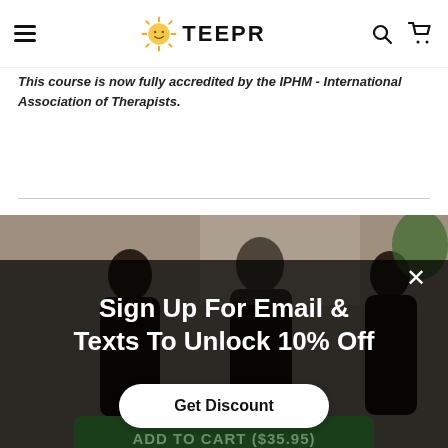TEEPR
This course is now fully accredited by the IPHM - International Association of Therapists.
[Figure (photo): Dark semi-transparent popup overlay over a background photo showing people in a room. A white X close button appears in the upper right of the overlay.]
Sign Up For Email & Texts To Unlock 10% Off
Get Discount
ADD TO CART ($35.95)